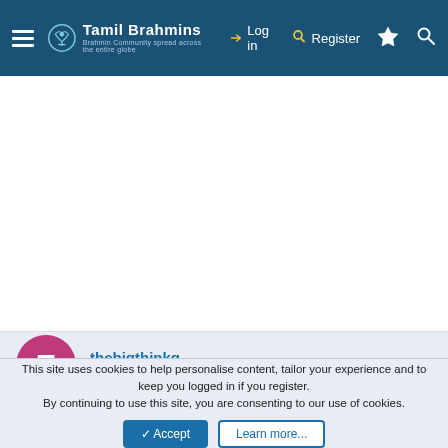Tamil Brahmins — navigation bar with Log in, Register, and search icons
[Figure (screenshot): White blank content area below the navigation bar]
thebigthinkg — Active member
This site uses cookies to help personalise content, tailor your experience and to keep you logged in if you register. By continuing to use this site, you are consenting to our use of cookies.
Accept   Learn more...